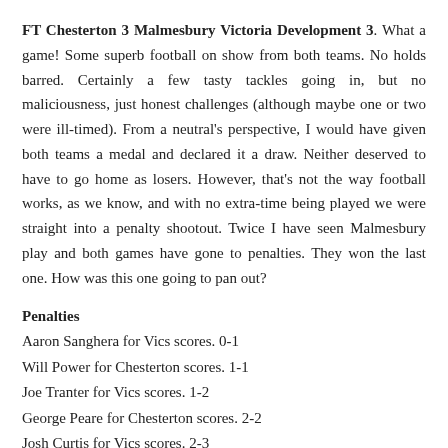FT Chesterton 3 Malmesbury Victoria Development 3. What a game! Some superb football on show from both teams. No holds barred. Certainly a few tasty tackles going in, but no maliciousness, just honest challenges (although maybe one or two were ill-timed). From a neutral's perspective, I would have given both teams a medal and declared it a draw. Neither deserved to have to go home as losers. However, that's not the way football works, as we know, and with no extra-time being played we were straight into a penalty shootout. Twice I have seen Malmesbury play and both games have gone to penalties. They won the last one. How was this one going to pan out?
Penalties
Aaron Sanghera for Vics scores. 0-1
Will Power for Chesterton scores. 1-1
Joe Tranter for Vics scores. 1-2
George Peare for Chesterton scores. 2-2
Josh Curtis for Vics scores. 2-3
Dan Jones sees his penalty saved by Macauley Brown. 2-3. Advantage Malmesbury?